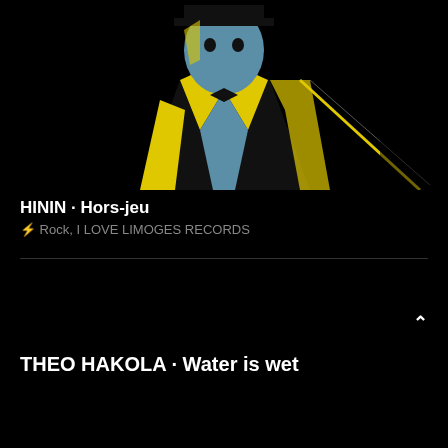[Figure (illustration): Comic-style illustration of a figure in black suit and bow tie with yellow and blue coloring on black background]
HININ · Hors-jeu
⚡ Rock, I LOVE LIMOGES RECORDS
^
THEO HAKOLA · Water is wet